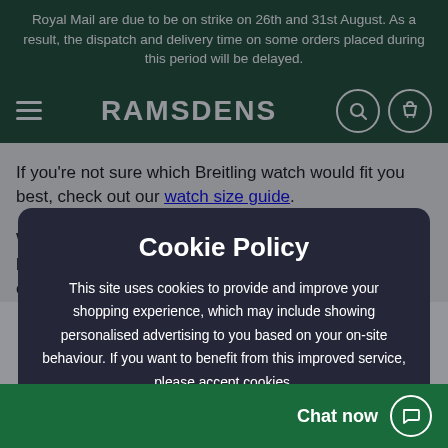Royal Mail are due to be on strike on 26th and 31st August. As a result, the dispatch and delivery time on some orders placed during this period will be delayed.
[Figure (screenshot): Ramsdens website navigation bar with hamburger menu, RAMSDENS logo, and search/bag icons on dark green background]
If you're not sure which Breitling watch would fit you best, check out our watch size guide.
When you purchase a Breitling watch from us, you can buy with confidence. All of our watches sold online come with a 12...
Cookie Policy
This site uses cookies to provide and improve your shopping experience, which may include showing personalised advertising to you based on your on-site behaviour. If you want to benefit from this improved service, please accept cookies.
Allow and Continue
Chat now